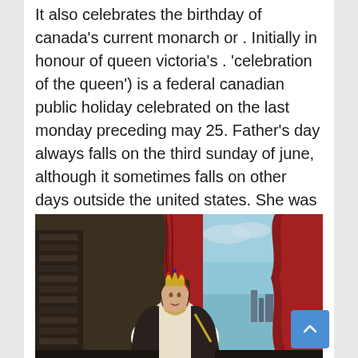It also celebrates the birthday of canada's current monarch or . Initially in honour of queen victoria's . 'celebration of the queen') is a federal canadian public holiday celebrated on the last monday preceding may 25. Father's day always falls on the third sunday of june, although it sometimes falls on other days outside the united states. She was a reigning monarch (queen) for 63 years, seven months and two days.
[Figure (photo): A classical oil painting portrait of Queen Victoria wearing a crown and formal regalia, with red curtains in the background and a view of a landscape through an arch.]